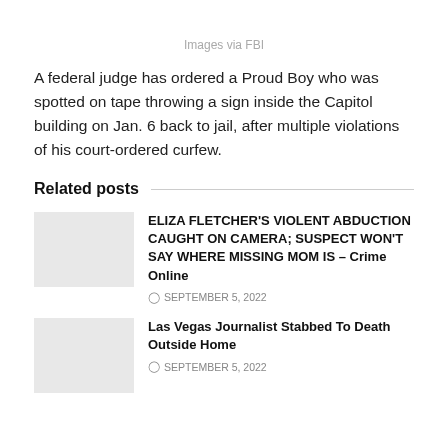Images via FBI
A federal judge has ordered a Proud Boy who was spotted on tape throwing a sign inside the Capitol building on Jan. 6 back to jail, after multiple violations of his court-ordered curfew.
Related posts
ELIZA FLETCHER'S VIOLENT ABDUCTION CAUGHT ON CAMERA; SUSPECT WON'T SAY WHERE MISSING MOM IS – Crime Online
SEPTEMBER 5, 2022
Las Vegas Journalist Stabbed To Death Outside Home
SEPTEMBER 5, 2022